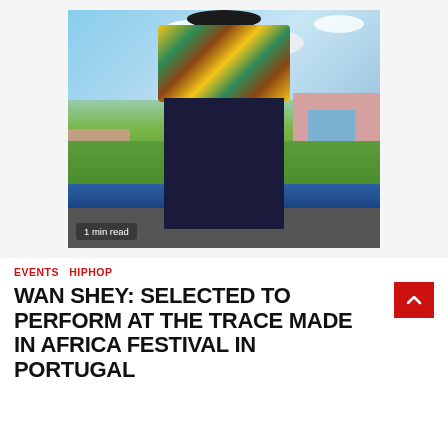[Figure (photo): A man wearing a colorful yellow and green patterned African print t-shirt and dark pants, standing outdoors with sky, greenery, water, and buildings in the background. Badge reads '1 min read'.]
EVENTS  HIPHOP
WAN SHEY: SELECTED TO PERFORM AT THE TRACE MADE IN AFRICA FESTIVAL IN PORTUGAL